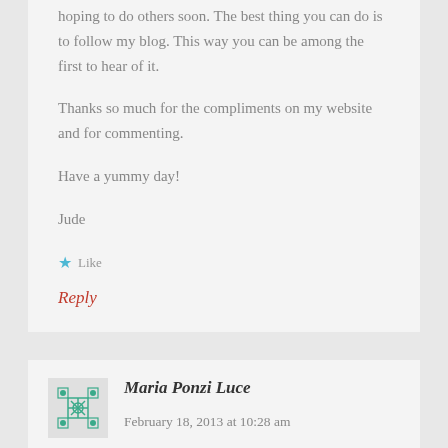hoping to do others soon. The best thing you can do is to follow my blog. This way you can be among the first to hear of it.
Thanks so much for the compliments on my website and for commenting.
Have a yummy day!
Jude
Like
Reply
Maria Ponzi Luce   February 18, 2013 at 10:28 am